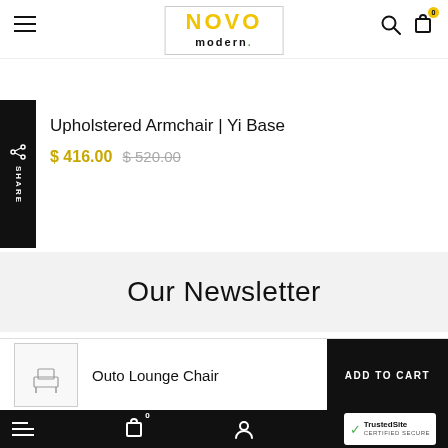NOVO modern.
Upholstered Armchair | Yi Base
$ 416.00  $ 520.00
Our Newsletter
Outo Lounge Chair
ADD TO CART  TrustedSite CERTIFIED SECURE